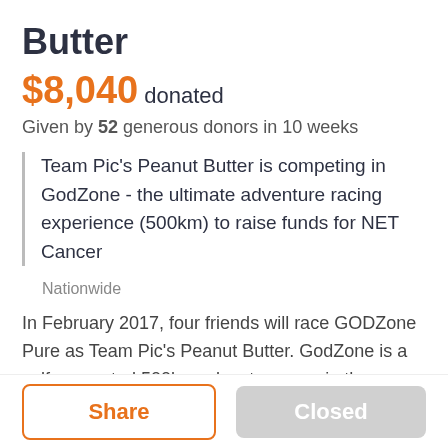Butter
$8,040 donated
Given by 52 generous donors in 10 weeks
Team Pic's Peanut Butter is competing in GodZone - the ultimate adventure racing experience (500km) to raise funds for NET Cancer
Nationwide
In February 2017, four friends will race GODZone Pure as Team Pic's Peanut Butter. GodZone is a self-supported 500km adventure race in the Queenstown region which involves alpine...
Share
Closed